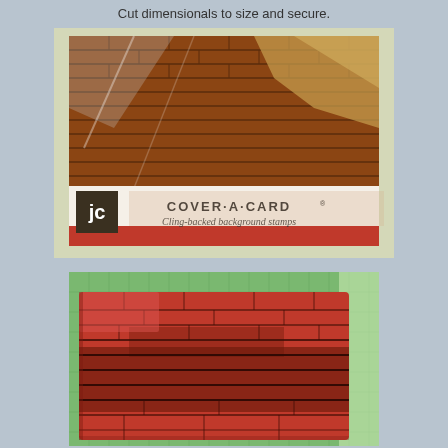Cut dimensionals to size and secure.
[Figure (photo): Packaged cling-backed background rubber stamp product by JC (Judikins or similar brand) showing a brick wall design. The product packaging shows a brick texture stamp with a decorative label reading 'cover-a-card cling-backed background stamps'. The stamp is wrapped in clear plastic.]
[Figure (photo): Close-up photo of a red rubber cling stamp showing a detailed brick wall pattern with dark mortar lines. The stamp has a textured brick surface in red/dark red tones. A green cutting mat is visible in the background.]